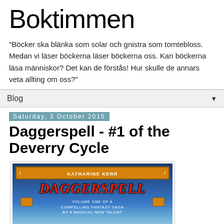Boktimmen
"Böcker ska blänka som solar och gnistra som tomtebloss. Medan vi läser böckerna läser böckerna oss. Kan böckerna läsa människor? Det kan de förstås! Hur skulle de annars veta allting om oss?"
Blog
Saturday, 3 October 2015
Daggerspell - #1 of the Deverry Cycle
[Figure (photo): Book cover of Daggerspell by Katharine Kerr - Volume One of a compelling fantasy saga by a magical new talent. Shows dark blue fantasy sky background with orange/red title text.]